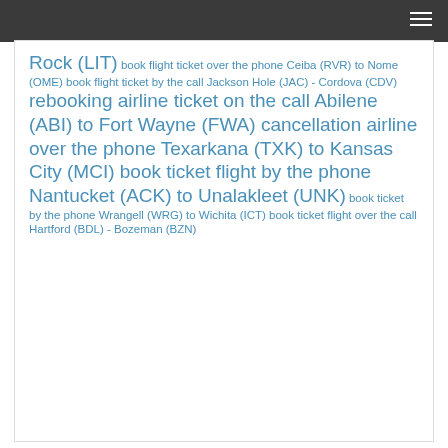Rock (LIT) book flight ticket over the phone Ceiba (RVR) to Nome (OME) book flight ticket by the call Jackson Hole (JAC) - Cordova (CDV) rebooking airline ticket on the call Abilene (ABI) to Fort Wayne (FWA) cancellation airline over the phone Texarkana (TXK) to Kansas City (MCI) book ticket flight by the phone Nantucket (ACK) to Unalakleet (UNK) book ticket by the phone Wrangell (WRG) to Wichita (ICT) book ticket flight over the call Hartford (BDL) - Bozeman (BZN)